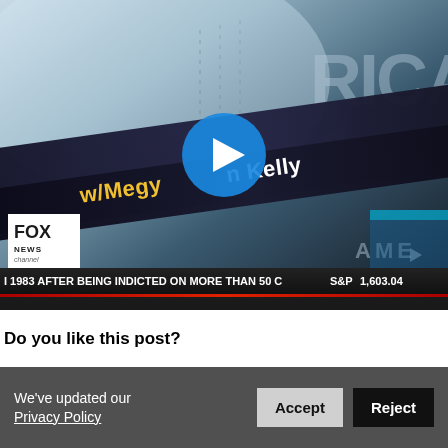[Figure (screenshot): Fox News video thumbnail showing America's Newsroom w/Megyn Kelly broadcast with a play button overlay. A news ticker at the bottom reads '1983 AFTER BEING INDICTED ON MORE THAN 50 C' and 'S&P 1,603.04'. Fox News channel logo visible in lower left.]
Do you like this post?
We've updated our Privacy Policy
Accept
Reject